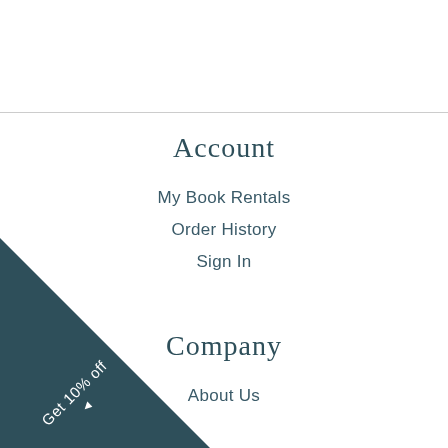Account
My Book Rentals
Order History
Sign In
Company
About Us
Help
FAQs
[Figure (infographic): Diagonal dark teal triangular banner in the bottom-left corner with text 'Get 10% off' and a left-pointing arrow, rotated 45 degrees.]